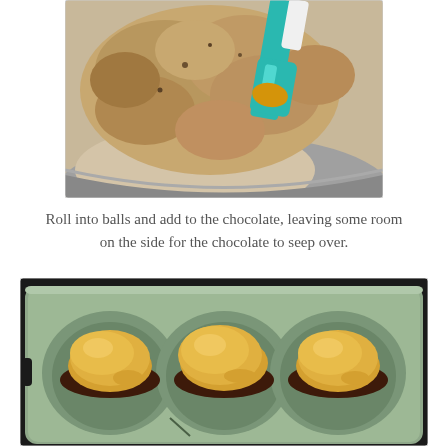[Figure (photo): A mixing bowl viewed from above containing a crumbly tan-colored dough or mixture being scraped with a teal/turquoise silicone spatula.]
Roll into balls and add to the chocolate, leaving some room on the side for the chocolate to seep over.
[Figure (photo): A silicone muffin tray in sage green/gray color with three peanut butter-colored round balls pressed into chocolate cups, showing the peanut butter mixture sitting on top of a chocolate base in three of the muffin cavities.]